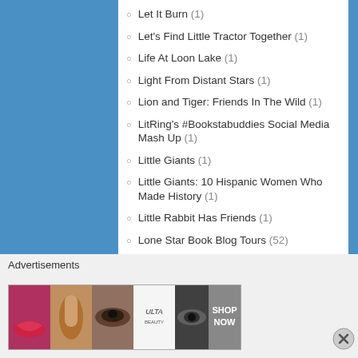Let It Burn (1)
Let's Find Little Tractor Together (1)
Life At Loon Lake (1)
Light From Distant Stars (1)
Lion and Tiger: Friends In The Wild (1)
LitRing's #Bookstabuddies Social Media Mash Up (1)
Little Giants (1)
Little Giants: 10 Hispanic Women Who Made History (1)
Little Rabbit Has Friends (1)
Lone Star Book Blog Tours (52)
Lone Star Book Blog Tours (4)
Long Curly Pink Wig (1)
Magical Beasts (1)
Magical Mountain (1)
Magical Unicorn Coloring Book For Kids (1)
Advertisements
[Figure (photo): Advertisement banner showing ULTA beauty products with makeup imagery and SHOP NOW call to action]